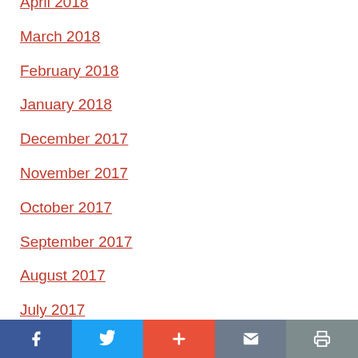April 2018
March 2018
February 2018
January 2018
December 2017
November 2017
October 2017
September 2017
August 2017
July 2017
Social share bar with Facebook, Twitter, Plus, Email, Print buttons